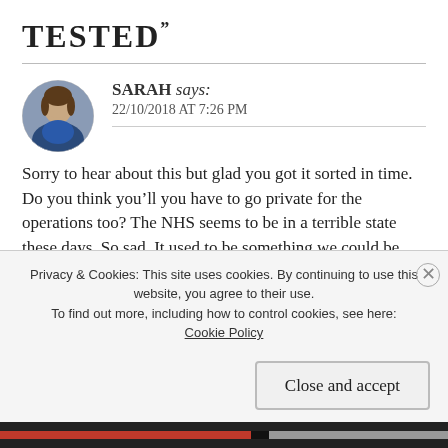TESTED”
[Figure (photo): Circular avatar photo of a woman named Sarah, wearing a blue top]
SARAH says:
22/10/2018 AT 7:26 PM
Sorry to hear about this but glad you got it sorted in time. Do you think you’ll you have to go private for the operations too? The NHS seems to be in a terrible state these days. So sad. It used to be something we could be proud of. (We can still be proud of the staff, of course, they do an amazing job under terrible pressure.)
Privacy & Cookies: This site uses cookies. By continuing to use this website, you agree to their use.
To find out more, including how to control cookies, see here: Cookie Policy
Close and accept